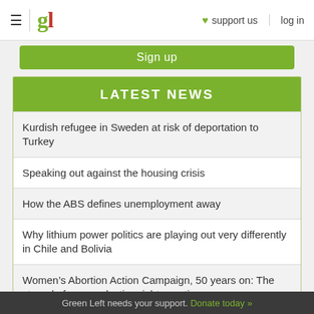gl | support us | log in
Sign up
LATEST NEWS
Kurdish refugee in Sweden at risk of deportation to Turkey
Speaking out against the housing crisis
How the ABS defines unemployment away
Why lithium power politics are playing out very differently in Chile and Bolivia
Women's Abortion Action Campaign, 50 years on: The struggle for reproductive rights continues
A techno-optimist genre of ecological Marxism is not
Green Left needs your support. Donate today »